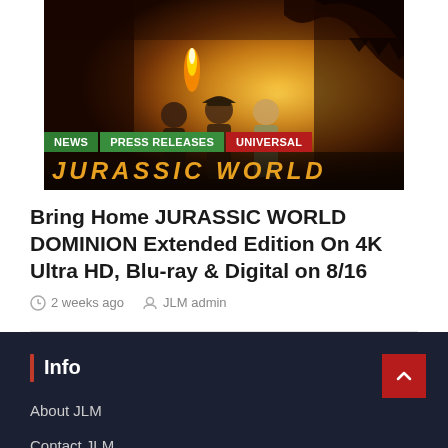[Figure (photo): Jurassic World Dominion movie poster/image showing characters against a fiery dinosaur backdrop. Overlaid badges: NEWS (green), PRESS RELEASES (green), UNIVERSAL (red). Bottom shows stylized 'JURASSIC WORLD' text.]
Bring Home JURASSIC WORLD DOMINION Extended Edition On 4K Ultra HD, Blu-ray & Digital on 8/16
2 weeks ago   JLM admin
Info
About JLM
Contact JLM